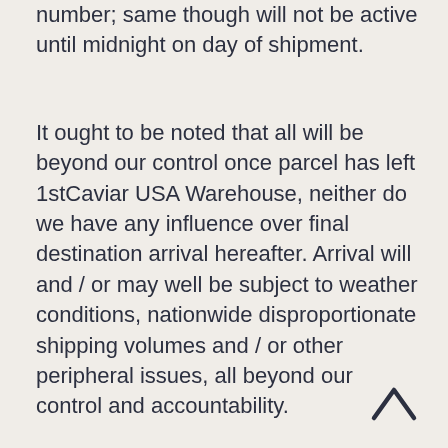number; same though will not be active until midnight on day of shipment.
It ought to be noted that all will be beyond our control once parcel has left 1stCaviar USA Warehouse, neither do we have any influence over final destination arrival hereafter. Arrival will and / or may well be subject to weather conditions, nationwide disproportionate shipping volumes and / or other peripheral issues, all beyond our control and accountability.